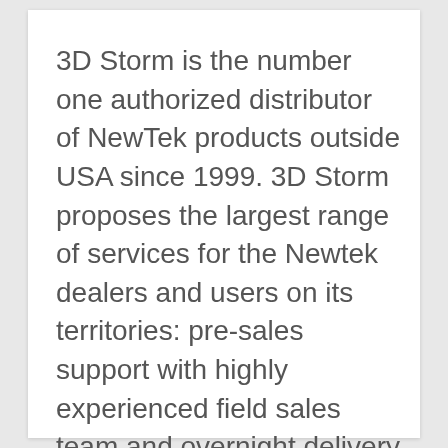3D Storm is the number one authorized distributor of NewTek products outside USA since 1999. 3D Storm proposes the largest range of services for the Newtek dealers and users on its territories: pre-sales support with highly experienced field sales team and overnight delivery from stock in France. It is the authorized maintenance, repair, parts and training center in Europe for the entire range of NewTek products.